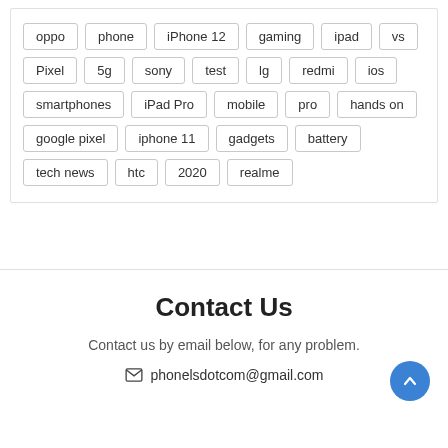oppo
phone
iPhone 12
gaming
ipad
vs
Pixel
5g
sony
test
lg
redmi
ios
smartphones
iPad Pro
mobile
pro
hands on
google pixel
iphone 11
gadgets
battery
tech news
htc
2020
realme
Contact Us
Contact us by email below, for any problem.
phonelsdotcom@gmail.com